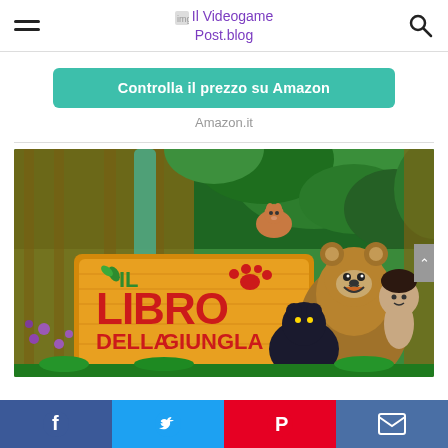Il Videogame Post.blog
Controlla il prezzo su Amazon
Amazon.it
[Figure (illustration): Animated promotional image for 'Il Libro della Giungla' (The Jungle Book) showing cartoon characters including a bear, a black panther, and a boy in a jungle setting with a wooden sign displaying the title in red and green letters.]
Social share bar with Facebook, Twitter, Pinterest, and Email icons